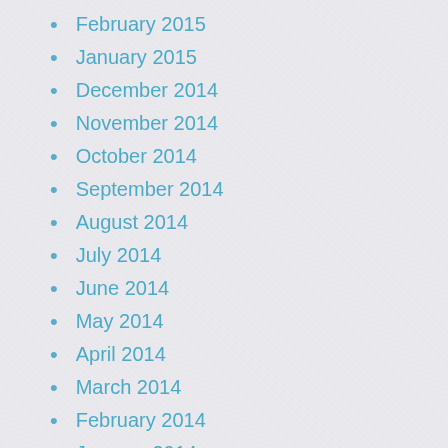February 2015
January 2015
December 2014
November 2014
October 2014
September 2014
August 2014
July 2014
June 2014
May 2014
April 2014
March 2014
February 2014
January 2014
December 2013
November 2013
October 2013
September 2013
August 2013